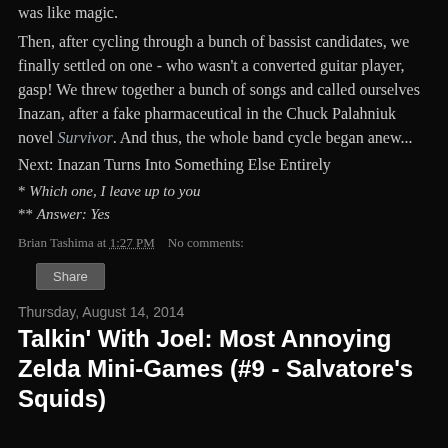was like magic.
Then, after cycling through a bunch of bassist candidates, we finally settled on one - who wasn't a converted guitar player, gasp! We threw together a bunch of songs and called ourselves Inazan, after a fake pharmaceutical in the Chuck Palahniuk novel Survivor. And thus, the whole band cycle began anew...
Next: Inazan Turns Into Something Else Entirely
* Which one, I leave up to you
** Answer: Yes
Brian Tashima at 1:27 PM   No comments:
Share
Thursday, August 14, 2014
Talkin' With Joel: Most Annoying Zelda Mini-Games (#9 - Salvatore's Squids)